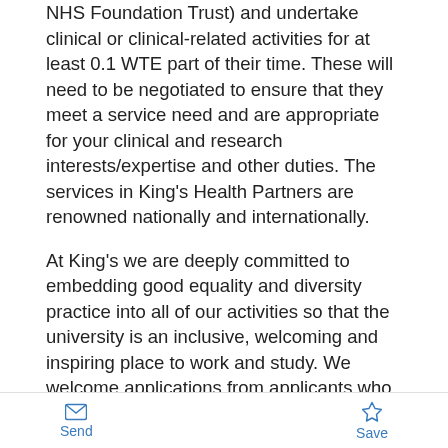NHS Foundation Trust) and undertake clinical or clinical-related activities for at least 0.1 WTE part of their time.  These will need to be negotiated to ensure that they meet a service need and are appropriate for your clinical and research interests/expertise and other duties. The services in King's Health Partners are renowned nationally and internationally.
At King's we are deeply committed to embedding good equality and diversity practice into all of our activities so that the university is an inclusive, welcoming and inspiring place to work and study. We welcome applications from applicants who are disabled, LGBTQ+ and/or from a racial/ethnic minority background as they are under-represented within the University and local NHS Trusts at these levels.
This post will be offered on an indefinite contract.
Send  Save